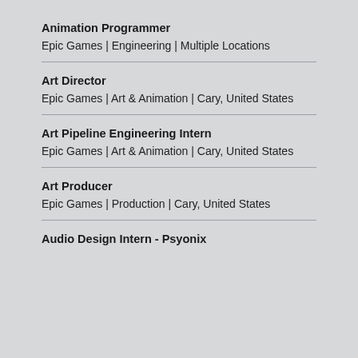Animation Programmer
Epic Games | Engineering | Multiple Locations
Art Director
Epic Games | Art & Animation | Cary, United States
Art Pipeline Engineering Intern
Epic Games | Art & Animation | Cary, United States
Art Producer
Epic Games | Production | Cary, United States
Audio Design Intern - Psyonix